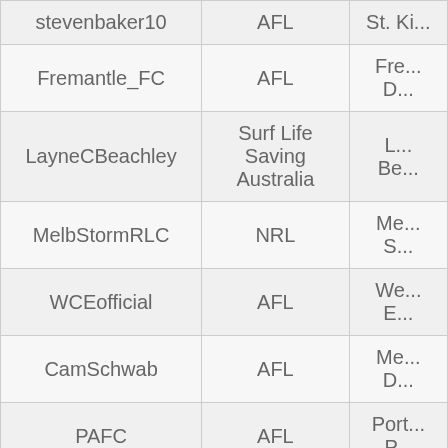| stevenbaker10 | AFL | St. Ki... |
| Fremantle_FC | AFL | Fre... D... |
| LayneCBeachley | Surf Life Saving Australia | L... Be... |
| MelbStormRLC | NRL | Me... S... |
| WCEofficial | AFL | We... B... |
| CamSchwab | AFL | Me... D... |
| PAFC | AFL | Port... P... |
| RWC2011 | Rugby World Cup | Rug... |
| stevesmith49 | Cricket New South Wales | Ne... Wal... |